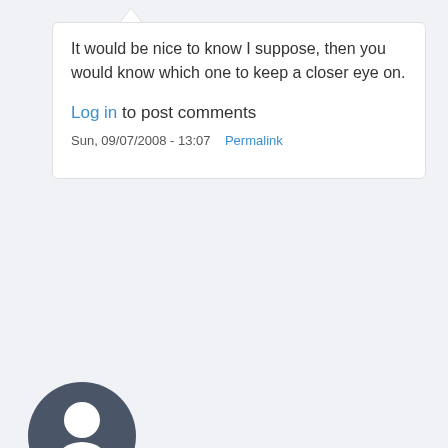It would be nice to know I suppose, then you would know which one to keep a closer eye on.
Log in to post comments
Sun, 09/07/2008 - 13:07   Permalink
[Figure (illustration): User avatar icon — dark gray circle with a white silhouette of a person (head and shoulders)]
FIREYONE
I believe our bank uses Experian and I can see why. They give alot more detail than the others. My experian had a bunch of crap listed even